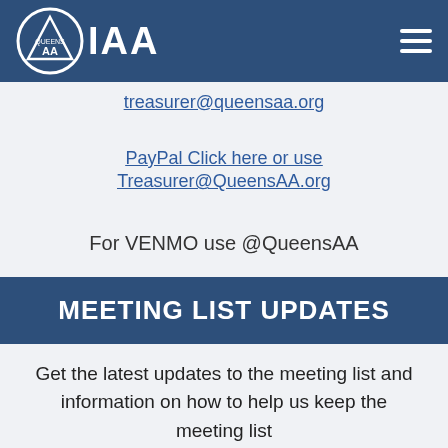QIAA
treasurer@queensaa.org
PayPal Click here or use Treasurer@QueensAA.org
For VENMO use @QueensAA
MEETING LIST UPDATES
Get the latest updates to the meeting list and information on how to help us keep the meeting list